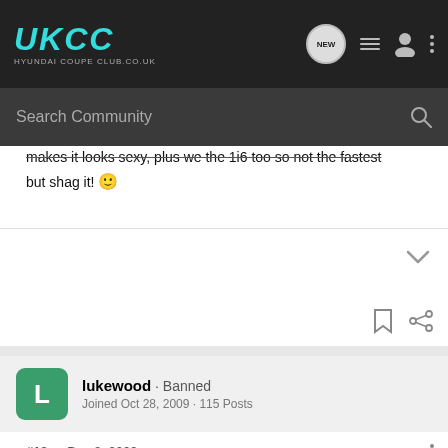UKCC HYUNDAI COUPE CLUB.CO.UK
makes it looks sexy, plus we the 1i6 too so not the fastest but shag it! 🙂
lukewood · Banned
Joined Oct 28, 2009 · 115 Posts
#12 · Dec 2, 2009
i like being pretty